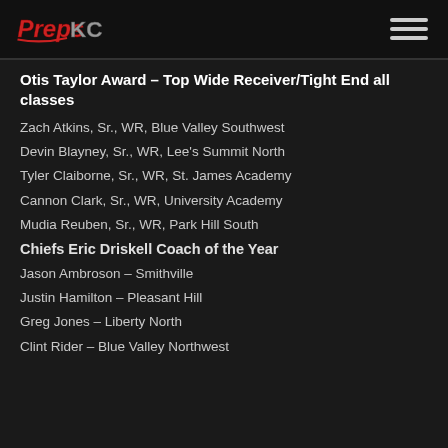PrepsKC
Otis Taylor Award – Top Wide Receiver/Tight End all classes
Zach Atkins, Sr., WR, Blue Valley Southwest
Devin Blayney, Sr., WR, Lee's Summit North
Tyler Claiborne, Sr., WR, St. James Academy
Cannon Clark, Sr., WR, University Academy
Mudia Reuben, Sr., WR, Park Hill South
Chiefs Eric Driskell Coach of the Year
Jason Ambroson – Smithville
Justin Hamilton – Pleasant Hill
Greg Jones – Liberty North
Clint Rider – Blue Valley Northwest